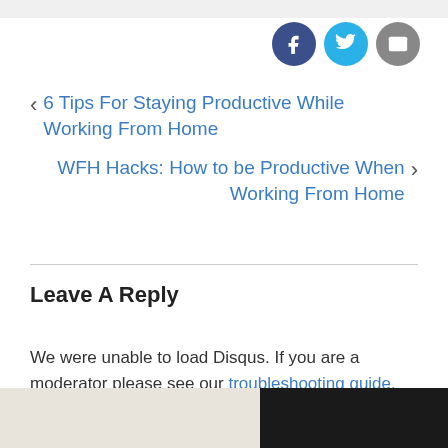[Figure (other): Social sharing icons: Facebook (dark blue circle), Twitter (light blue circle), Email (gray circle)]
< 6 Tips For Staying Productive While Working From Home
WFH Hacks: How to be Productive When Working From Home >
Leave A Reply
We were unable to load Disqus. If you are a moderator please see our troubleshooting guide.
[Figure (photo): Bottom strip showing a light stone/brick background on the left and dark background on the right]